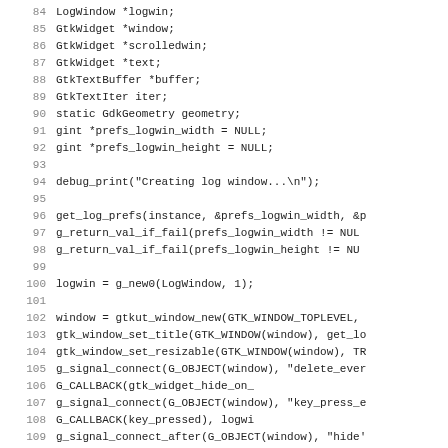Source code listing, lines 84-115, C code for log window creation using GTK